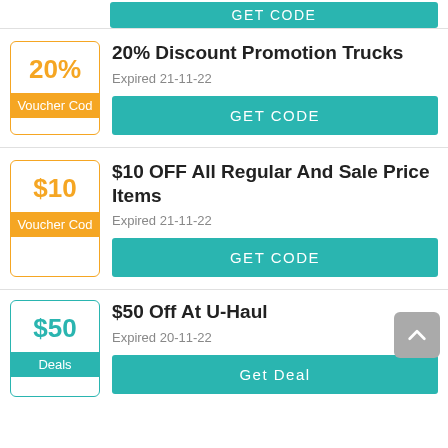[Figure (screenshot): Partial GET CODE button at top of page, cropped coupon row]
20% Discount Promotion Trucks
Expired 21-11-22
GET CODE
$10 OFF All Regular And Sale Price Items
Expired 21-11-22
GET CODE
$50 Off At U-Haul
Expired 20-11-22
Get Deal